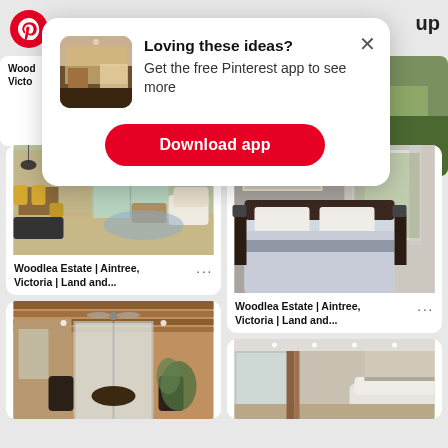[Figure (screenshot): Pinterest app screenshot showing a popup prompt 'Loving these ideas? Get the free Pinterest app to see more' with a Download app button, overlaying a grid of interior design images labeled 'Woodlea Estate | Aintree, Victoria | Land and...']
Loving these ideas?
Get the free Pinterest app to see more
Download app
Woodlea Estate | Aintree, Victoria | Land and...
Woodlea Estate | Aintree, Victoria | Land and...